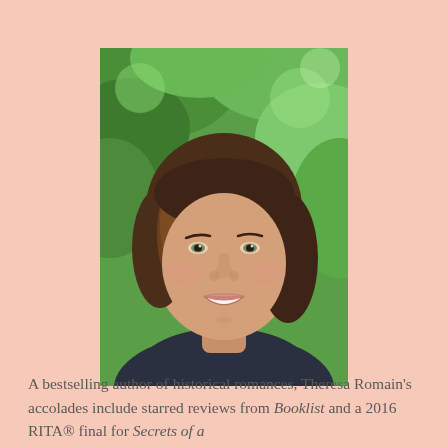[Figure (photo): Headshot of Theresa Romain, a woman with shoulder-length brown hair smiling, wearing a dark blue top, photographed outdoors with green foliage background.]
A bestselling author of historical romances, Theresa Romain's accolades include starred reviews from Booklist and a 2016 RITA® final for Secrets of a